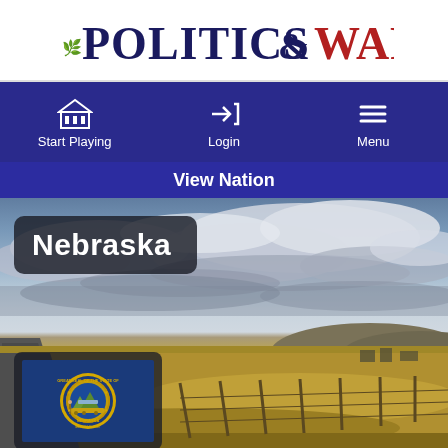[Figure (logo): Politics & War logo with stylized text - 'Politics' in dark navy serif font with laurel wreath decoration, '& War' in dark red serif font]
[Figure (screenshot): Navigation bar with dark blue background showing three nav items: Start Playing (building/columns icon), Login (arrow-into-bracket icon), Menu (hamburger icon)]
View Nation
[Figure (photo): Nebraska nation page showing a scenic landscape photo of an open road through prairie/farmland with dramatic cloudy sky, overlaid with 'Nebraska' text badge and Nebraska state flag badge in lower left corner]